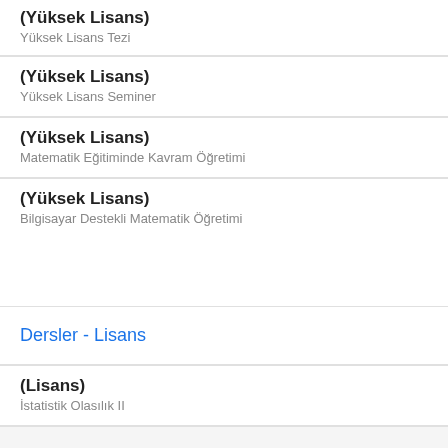(Yüksek Lisans)
Yüksek Lisans Tezi
(Yüksek Lisans)
Yüksek Lisans Seminer
(Yüksek Lisans)
Matematik Eğitiminde Kavram Öğretimi
(Yüksek Lisans)
Bilgisayar Destekli Matematik Öğretimi
Dersler - Lisans
(Lisans)
İstatistik Olasılık II